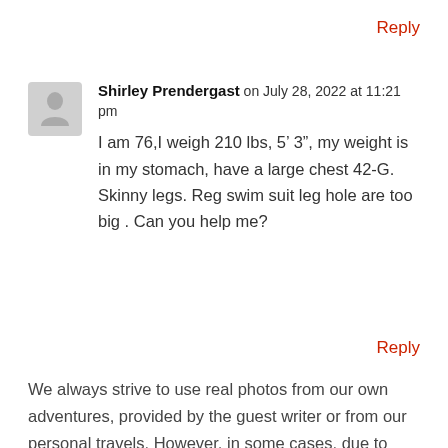Reply
Shirley Prendergast on July 28, 2022 at 11:21 pm
I am 76,I weigh 210 lbs, 5’ 3”, my weight is in my stomach, have a large chest 42-G. Skinny legs. Reg swim suit leg hole are too big . Can you help me?
Reply
We always strive to use real photos from our own adventures, provided by the guest writer or from our personal travels. However, in some cases, due to